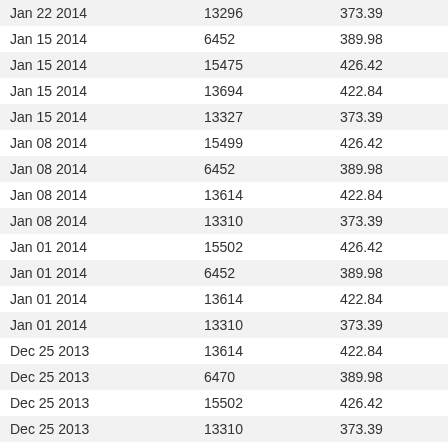| Jan 22 2014 | 13296 | 373.39 |
| Jan 15 2014 | 6452 | 389.98 |
| Jan 15 2014 | 15475 | 426.42 |
| Jan 15 2014 | 13694 | 422.84 |
| Jan 15 2014 | 13327 | 373.39 |
| Jan 08 2014 | 15499 | 426.42 |
| Jan 08 2014 | 6452 | 389.98 |
| Jan 08 2014 | 13614 | 422.84 |
| Jan 08 2014 | 13310 | 373.39 |
| Jan 01 2014 | 15502 | 426.42 |
| Jan 01 2014 | 6452 | 389.98 |
| Jan 01 2014 | 13614 | 422.84 |
| Jan 01 2014 | 13310 | 373.39 |
| Dec 25 2013 | 13614 | 422.84 |
| Dec 25 2013 | 6470 | 389.98 |
| Dec 25 2013 | 15502 | 426.42 |
| Dec 25 2013 | 13310 | 373.39 |